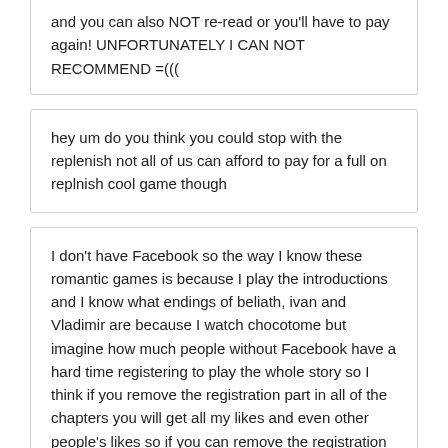and you can also NOT re-read or you'll have to pay again! UNFORTUNATELY I CAN NOT RECOMMEND =(((
hey um do you think you could stop with the replenish not all of us can afford to pay for a full on replnish cool game though
I don't have Facebook so the way I know these romantic games is because I play the introductions and I know what endings of beliath, ivan and Vladimir are because I watch chocotome but imagine how much people without Facebook have a hard time registering to play the whole story so I think if you remove the registration part in all of the chapters you will get all my likes and even other people's likes so if you can remove the registration part i'd remove it if I were you.